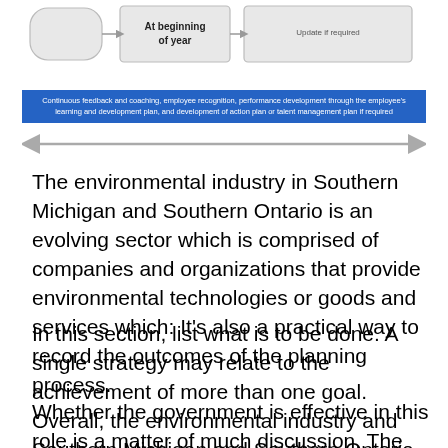[Figure (flowchart): Partial flowchart showing 'At beginning of year' box and an adjacent box, cropped at top of page]
Continuous feedback and coaching, employee recognition, performance development through the employee's learning and development plan, and development of action plan or talent management plan if required
[Figure (other): Double-headed arrow spanning the width of the diagram]
The environmental industry in Southern Michigan and Southern Ontario is an evolving sector which is comprised of companies and organizations that provide environmental technologies or goods and services which: It's also a practical way to record the outcomes of the planning process.
In this section, list what is to be done. A single strategy may relate to the achievement of more than one goal. Overall, the environmental industry and Southern Michigan and Southern Ontario is a growing one.
Whether the government is effective in this role is a matter of much discussion. The function of this registration is usually to define the financial liability the owners of the